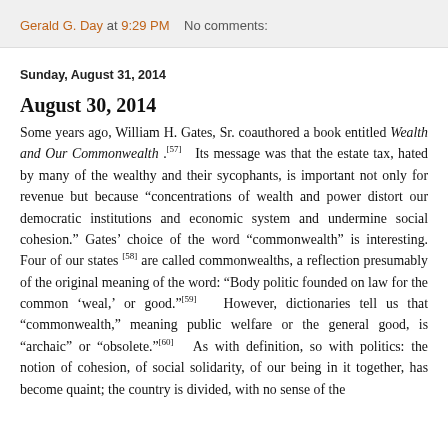Gerald G. Day at 9:29 PM   No comments:
Sunday, August 31, 2014
August 30, 2014
Some years ago, William H. Gates, Sr. coauthored a book entitled Wealth and Our Commonwealth .[57]   Its message was that the estate tax, hated by many of the wealthy and their sycophants, is important not only for revenue but because "concentrations of wealth and power distort our democratic institutions and economic system and undermine social cohesion." Gates’ choice of the word "commonwealth" is interesting. Four of our states [58] are called commonwealths, a reflection presumably of the original meaning of the word: "Body politic founded on law for the common ‘weal,’ or good."[59]  However, dictionaries tell us that "commonwealth," meaning public welfare or the general good, is "archaic" or "obsolete."[60]   As with definition, so with politics: the notion of cohesion, of social solidarity, of our being in it together, has become quaint; the country is divided, with no sense of the